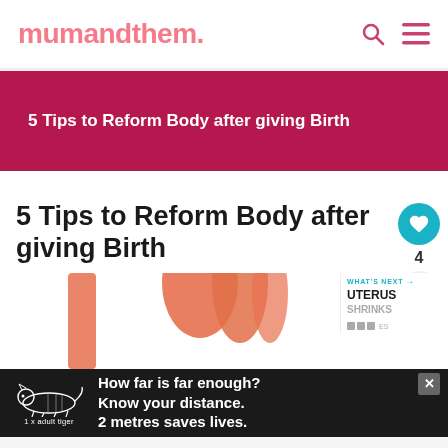mumandthem.
5 Tips to Reform Body after giving Birth
5 Tips to Reform Body after giving Birth
[Figure (photo): Partial view of a woman's body, article hero image for postpartum body reform tips]
[Figure (infographic): Advertisement: tiger illustration with text 'How far is far enough? Know your distance. 2 metres saves lives. 1 x adult tiger']